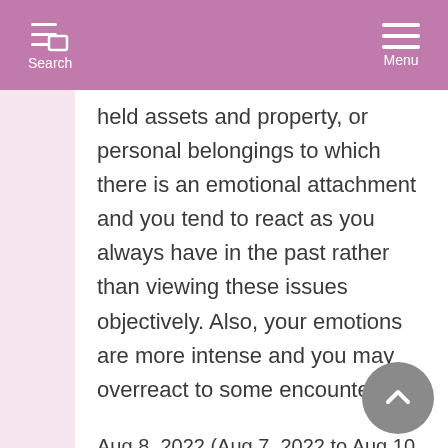Search  Menu
held assets and property, or personal belongings to which there is an emotional attachment and you tend to react as you always have in the past rather than viewing these issues objectively. Also, your emotions are more intense and you may overreact to some encounter.
Aug 8, 2022 (Aug 7, 2022 to Aug 10, 2022) Mer/Sat Oppos Asc
You may come across as serious, even closed and non-communicative, at this